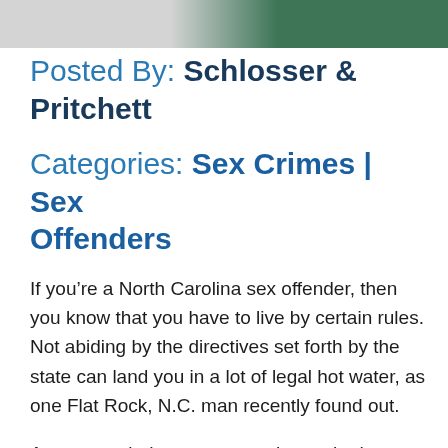[Figure (photo): Top banner image showing partial photos — gray/white on left, dark green background on right]
Posted By: Schlosser & Pritchett
Categories: Sex Crimes | Sex Offenders
If you’re a North Carolina sex offender, then you know that you have to live by certain rules. Not abiding by the directives set forth by the state can land you in a lot of legal hot water, as one Flat Rock, N.C. man recently found out.
A man married to a woman who worked at a